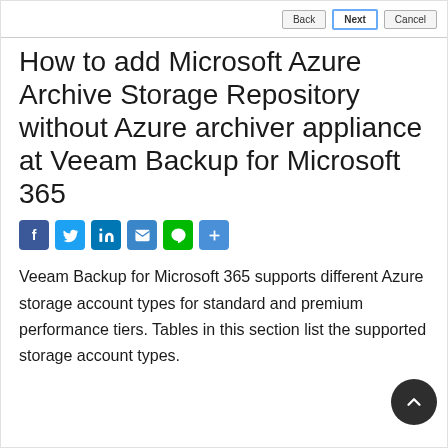Back | Next | Cancel
How to add Microsoft Azure Archive Storage Repository without Azure archiver appliance at Veeam Backup for Microsoft 365
[Figure (infographic): Social share icons: Facebook, Twitter, LinkedIn, Email, Line, Share]
Veeam Backup for Microsoft 365 supports different Azure storage account types for standard and premium performance tiers. Tables in this section list the supported storage account types.